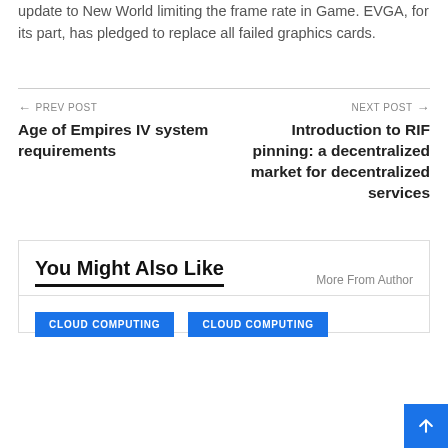update to New World limiting the frame rate in Game. EVGA, for its part, has pledged to replace all failed graphics cards.
← PREV POST
Age of Empires IV system requirements
NEXT POST →
Introduction to RIF pinning: a decentralized market for decentralized services
You Might Also Like
More From Author
CLOUD COMPUTING
CLOUD COMPUTING